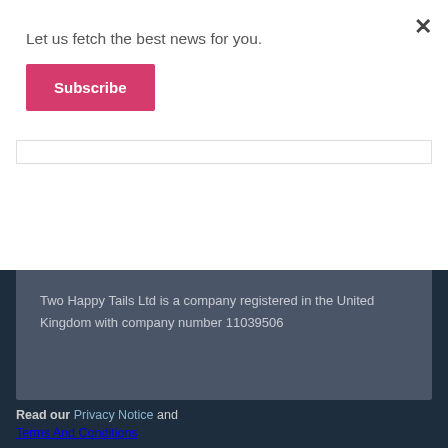Let us fetch the best news for you.
Subscribe
Two Happy Tails Ltd is a company registered in the United Kingdom with company number 11039506
Read our Privacy Notice and Terms And Conditions